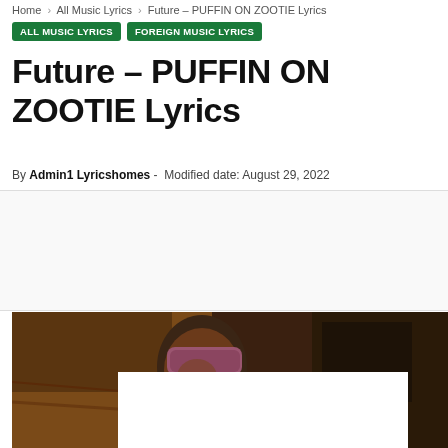Home › All Music Lyrics › Future – PUFFIN ON ZOOTIE Lyrics
ALL MUSIC LYRICS
FOREIGN MUSIC LYRICS
Future – PUFFIN ON ZOOTIE Lyrics
By Admin1 Lyricshomes - Modified date: August 29, 2022
[Figure (photo): A person wearing a pink/mauve blindfold sitting in a car interior with warm brown tones, with a white advertisement overlay box partially covering the lower portion of the image.]